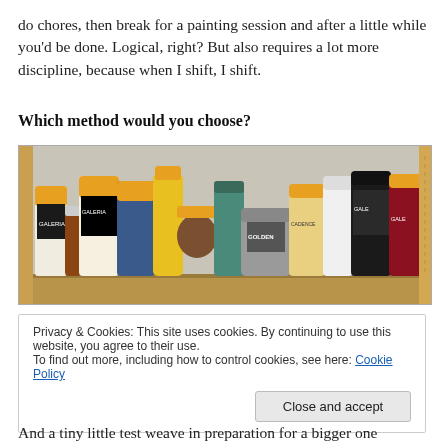do chores, then break for a painting session and after a little while you'd be done. Logical, right? But also requires a lot more discipline, because when I shift, I shift.
Which method would you choose?
[Figure (photo): A photograph of multiple acrylic paint bottles and tubes grouped on a wooden shelf, including brands Galeria, Golden, and Cadence. The bottles have yellow, blue, black, white and dark red caps and labels.]
Privacy & Cookies: This site uses cookies. By continuing to use this website, you agree to their use.
To find out more, including how to control cookies, see here: Cookie Policy
[Close and accept button]
And a tiny little test weave in preparation for a bigger one